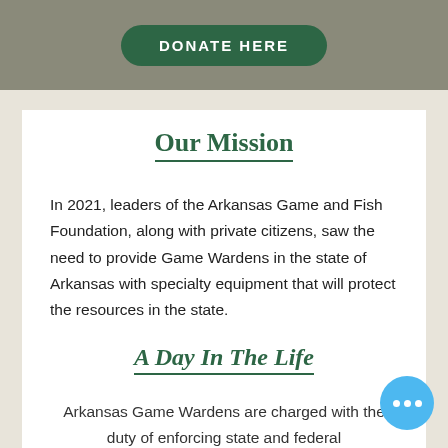[Figure (other): Dark grayscale photo of people's legs/feet near trucks with a green 'DONATE HERE' button overlay in the center]
Our Mission
In 2021, leaders of the Arkansas Game and Fish Foundation, along with private citizens, saw the need to provide Game Wardens in the state of Arkansas with specialty equipment that will protect the resources in the state.
A Day In The Life
Arkansas Game Wardens are charged with the duty of enforcing state and federal